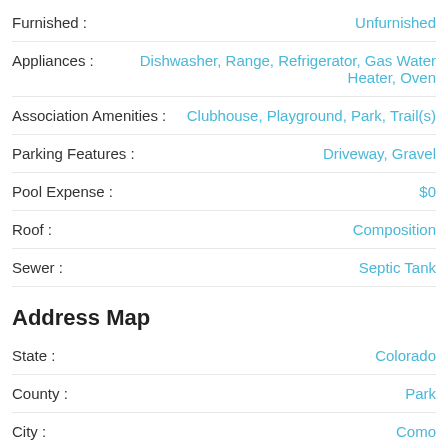Furnished : Unfurnished
Appliances : Dishwasher, Range, Refrigerator, Gas Water Heater, Oven
Association Amenities : Clubhouse, Playground, Park, Trail(s)
Parking Features : Driveway, Gravel
Pool Expense : $0
Roof : Composition
Sewer : Septic Tank
Address Map
State : Colorado
County : Park
City : Como
Zipcode : 80432
Street : 1128 Kiowa Street
Floor Number :